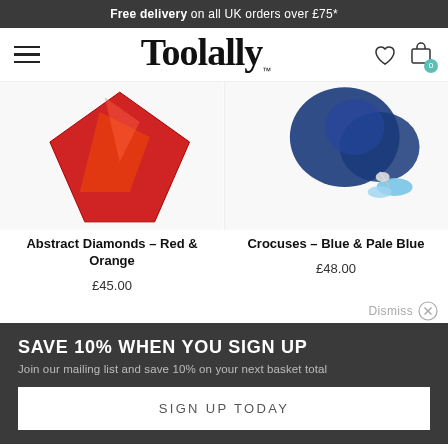Free delivery on all UK orders over £75*
[Figure (logo): Toolally brand logo with hamburger menu, heart icon, and shopping bag icon with 0 badge]
[Figure (photo): Two product photos: left shows red/orange abstract diamond-shaped earrings on white background; right shows blue and pale blue crocus flower earrings on white background]
Abstract Diamonds – Red & Orange
£45.00
Crocuses – Blue & Pale Blue
£48.00
Dismiss
SAVE 10% WHEN YOU SIGN UP
Join our mailing list and save 10% on your next basket total
SIGN UP TODAY